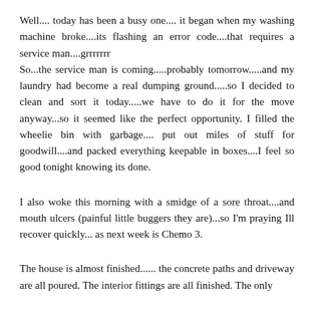Well.... today has been a busy one.... it began when my washing machine broke....its flashing an error code....that requires a service man....grrrrrrr
So...the service man is coming.....probably tomorrow.....and my laundry had become a real dumping ground.....so I decided to clean and sort it today.....we have to do it for the move anyway...so it seemed like the perfect opportunity. I filled the wheelie bin with garbage.... put out miles of stuff for goodwill....and packed everything keepable in boxes....I feel so good tonight knowing its done.
I also woke this morning with a smidge of a sore throat....and mouth ulcers (painful little buggers they are)...so I'm praying Ill recover quickly... as next week is Chemo 3.
The house is almost finished...... the concrete paths and driveway are all poured. The interior fittings are all finished. The only